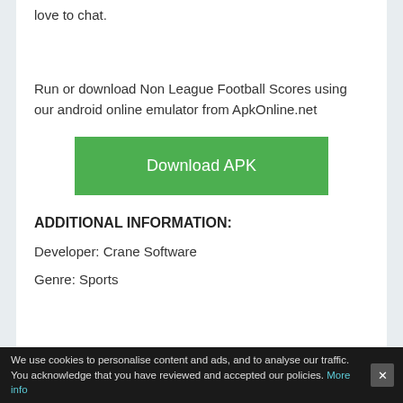love to chat.
Run or download Non League Football Scores using our android online emulator from ApkOnline.net
[Figure (other): Green Download APK button]
ADDITIONAL INFORMATION:
Developer: Crane Software
Genre: Sports
We use cookies to personalise content and ads, and to analyse our traffic. You acknowledge that you have reviewed and accepted our policies. More info